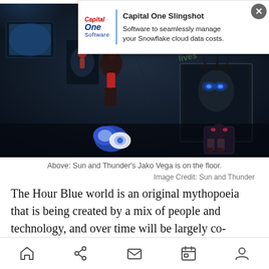[Figure (screenshot): Advertisement banner for Capital One Slingshot software overlaid on top of a dark game scene screenshot. The ad shows Capital One Software logo with text 'Capital One Slingshot - Software to seamlessly manage your Snowflake cloud data costs.' with an X close button.]
[Figure (photo): Dark atmospheric 3D game scene showing robot/character figures in a dimly lit room. A figure with glowing blue eyes is visible on the right wall as a framed image or poster. The scene is from the game 'Sun and Thunder' showing character Jako Vega on the floor.]
Above: Sun and Thunder's Jako Vega is on the floor.
Image Credit: Sun and Thunder
The Hour Blue world is an original mythopoeia that is being created by a mix of people and technology, and over time will be largely co-created by unique
Home Share Mail Calendar Profile